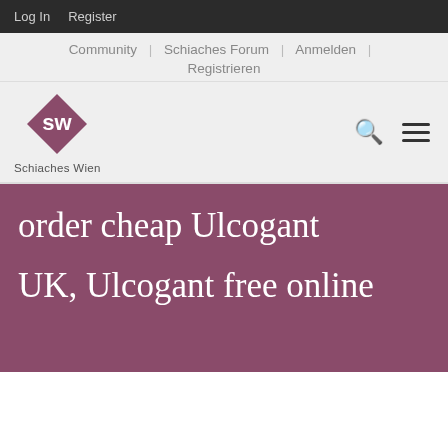Log In   Register
Community | Schiaches Forum | Anmelden | Registrieren
[Figure (logo): SW diamond logo with text 'Schiaches Wien' below]
order cheap Ulcogant UK, Ulcogant free online